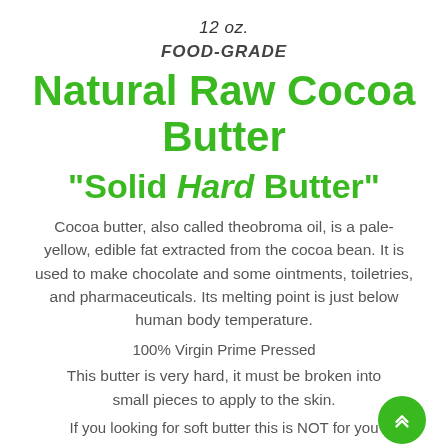12 oz.
FOOD-GRADE
Natural Raw Cocoa Butter
“Solid Hard Butter”
Cocoa butter, also called theobroma oil, is a pale-yellow, edible fat extracted from the cocoa bean. It is used to make chocolate and some ointments, toiletries, and pharmaceuticals. Its melting point is just below human body temperature.
100% Virgin Prime Pressed
This butter is very hard, it must be broken into small pieces to apply to the skin.
If you looking for soft butter this is NOT for you